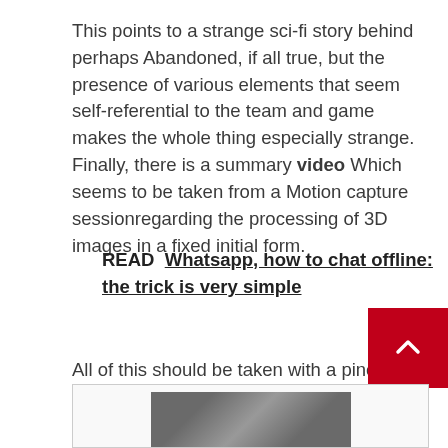This points to a strange sci-fi story behind perhaps Abandoned, if all true, but the presence of various elements that seem self-referential to the team and game makes the whole thing especially strange. Finally, there is a summary video Which seems to be taken from a Motion capture sessionregarding the processing of 3D images in a fixed initial form.
READ  Whatsapp, how to chat offline: the trick is very simple
All of this should be taken with a pinch of salt, of course, but it is strange that these things specifically appear in correspondence with the various leaks on Silent Hill, given theories regarding the two games involved.
[Figure (photo): Partial view of a person's photo at the bottom of the page inside a bordered box]